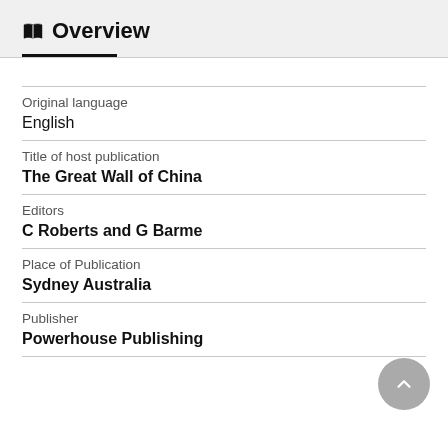Overview
Original language
English
Title of host publication
The Great Wall of China
Editors
C Roberts and G Barme
Place of Publication
Sydney Australia
Publisher
Powerhouse Publishing